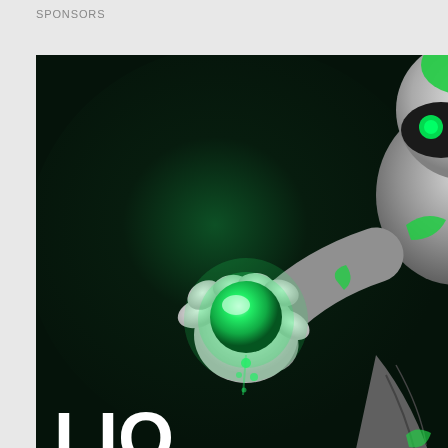SPONSORS
[Figure (illustration): Advertisement image showing a white robot girl (NFT robogirl) holding a glowing green orb, on a dark background. Text overlay reads 'LIQ' in large bold white letters and 'is NFT robogirl' below it.]